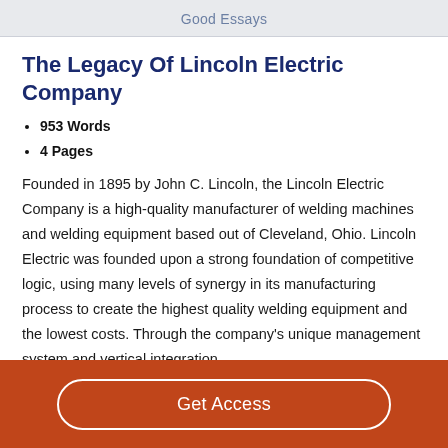Good Essays
The Legacy Of Lincoln Electric Company
953 Words
4 Pages
Founded in 1895 by John C. Lincoln, the Lincoln Electric Company is a high-quality manufacturer of welding machines and welding equipment based out of Cleveland, Ohio. Lincoln Electric was founded upon a strong foundation of competitive logic, using many levels of synergy in its manufacturing process to create the highest quality welding equipment and the lowest costs. Through the company's unique management system and vertical integration